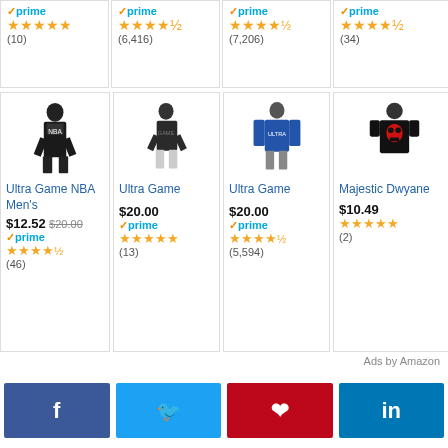[Figure (screenshot): Amazon product ad cards - top row partial: 4 items showing prime badge, star ratings, review counts]
[Figure (screenshot): Amazon product ad cards - bottom row: Ultra Game NBA Men's $12.52 (46 reviews), Ultra Game $20.00 prime (13 reviews), Ultra Game $20.00 prime (5,594 reviews), Majestic Dwyane $10.49 (2 reviews)]
Ads by Amazon
[Figure (infographic): Social share buttons: Facebook (f), Twitter (bird), Pinterest (P), LinkedIn (in)]
Sports media personalities Dan Le Batard and Stephen A Smith...